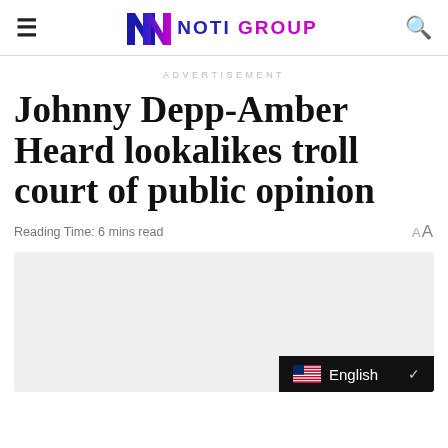NG NOTI GROUP
ADVERTISEMENT
Johnny Depp-Amber Heard lookalikes troll court of public opinion
Reading Time: 6 mins read
[Figure (other): Gray placeholder image area with English language selector bar at bottom right showing US flag and chevron]
English